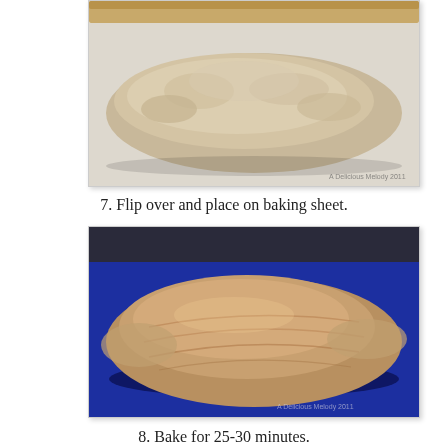[Figure (photo): Shaped bread dough loaf placed seam-side up on a white surface with a wooden rolling pin visible at top]
7.  Flip over and place on baking sheet.
[Figure (photo): Bread dough loaf flipped seam-side down on a dark blue baking sheet, showing smooth rounded top]
8.  Bake for 25-30 minutes.
[Figure (photo): Partial view of baked bread loaf, bottom of page cutoff]